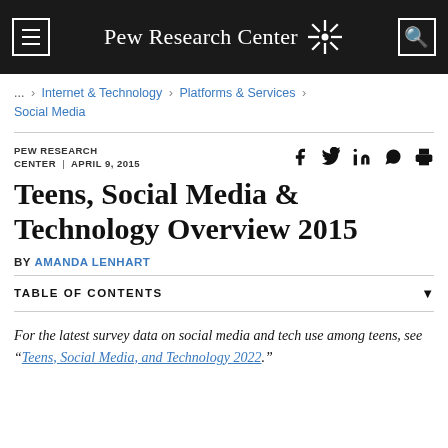Pew Research Center
... > Internet & Technology > Platforms & Services > Social Media
PEW RESEARCH CENTER | APRIL 9, 2015
Teens, Social Media & Technology Overview 2015
BY AMANDA LENHART
TABLE OF CONTENTS
For the latest survey data on social media and tech use among teens, see “Teens, Social Media, and Technology 2022.”